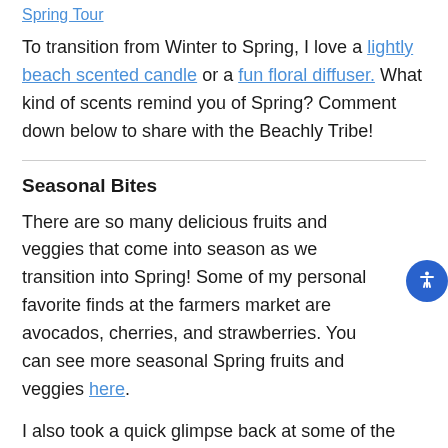Spring Tour
To transition from Winter to Spring, I love a lightly beach scented candle or a fun floral diffuser. What kind of scents remind you of Spring? Comment down below to share with the Beachly Tribe!
Seasonal Bites
There are so many delicious fruits and veggies that come into season as we transition into Spring! Some of my personal favorite finds at the farmers market are avocados, cherries, and strawberries. You can see more seasonal Spring fruits and veggies here.
I also took a quick glimpse back at some of the Beachly Tribe's all-time-favorite recipes shared on the Beachly Blog. Check out these recipes for the breakfast lover, the lunchin' babe, and a fun list of